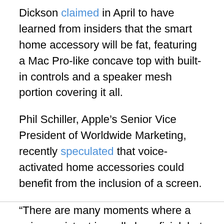Dickson claimed in April to have learned from insiders that the smart home accessory will be fat, featuring a Mac Pro-like concave top with built-in controls and a speaker mesh portion covering it all.
Phil Schiller, Apple's Senior Vice President of Worldwide Marketing, recently speculated that voice-activated home accessories could benefit from the inclusion of a screen.
“There are many moments where a voice assistant is really beneficial, but that doesn’t mean you’d never want a screen,” Schiller said.